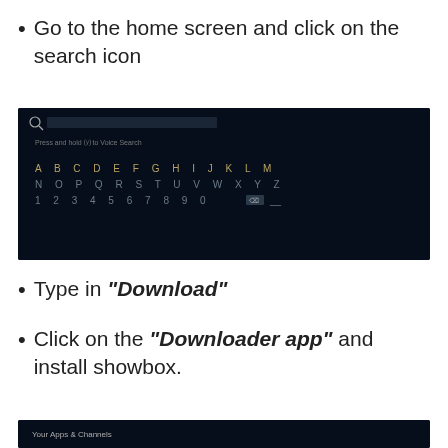Go to the home screen and click on the search icon
[Figure (screenshot): Dark screen showing a TV/streaming device search interface with a keyboard layout showing A-Z and 0-9 characters, and 'Press and hold to Voice Search' text]
Type in "Download"
Click on the "Downloader app" and install showbox.
[Figure (screenshot): Bottom portion of dark screen showing 'Your Apps & Channels' text]